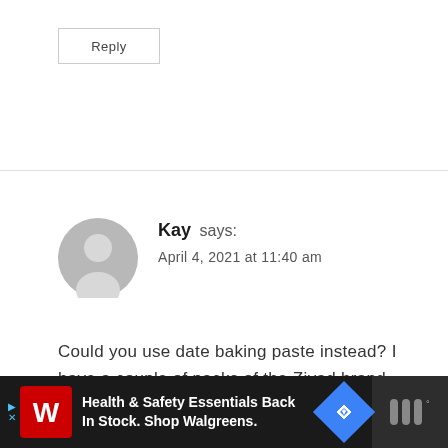Reply
Kay says:
April 4, 2021 at 11:40 am
Could you use date baking paste instead? I have a couple of packs of the Ziyad brand.
Reply
3
[Figure (screenshot): Walgreens advertisement banner: Health & Safety Essentials Back In Stock. Shop Walgreens.]